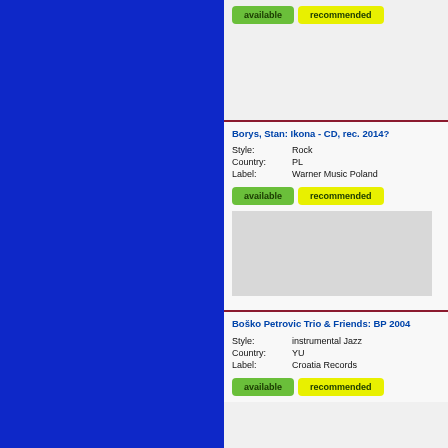[Figure (other): Blue sidebar on the left side of the page]
available | recommended
Borys, Stan: Ikona - CD, rec. 2014?
Style: Rock
Country: PL
Label: Warner Music Poland
available | recommended
Boško Petrovic Trio & Friends: BP 2004
Style: instrumental Jazz
Country: YU
Label: Croatia Records
available | recommended